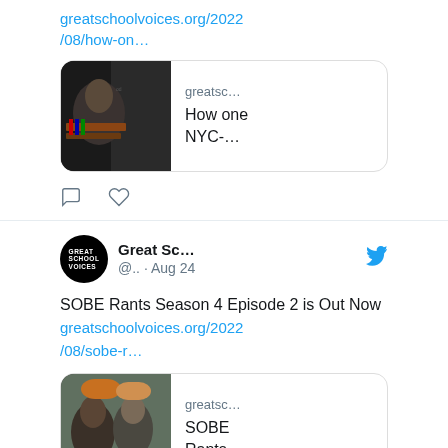greatschoolvoices.org/2022/08/how-on…
[Figure (screenshot): Link preview card with thumbnail of a child reading and text 'greatsc… How one NYC-…']
[Figure (illustration): Comment and like action icons]
[Figure (logo): Great School Voices logo — black block with GREAT SCHOOL VOICES text]
Great Sc… @.. · Aug 24
SOBE Rants Season 4 Episode 2 is Out Now greatschoolvoices.org/2022/08/sobe-r…
[Figure (screenshot): Link preview card with thumbnail of two people facing each other and text 'greatsc… SOBE Rants …']